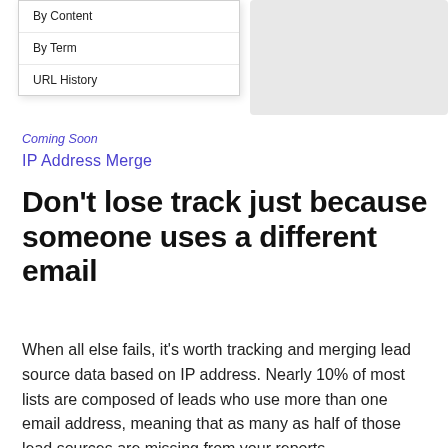[Figure (screenshot): Dropdown menu with items: By Content, By Term, URL History]
Coming Soon
IP Address Merge
Don't lose track just because someone uses a different email
When all else fails, it's worth tracking and merging lead source data based on IP address. Nearly 10% of most lists are composed of leads who use more than one email address, meaning that as many as half of those lead sources are missing from your reports. Ontraport takes care of it.